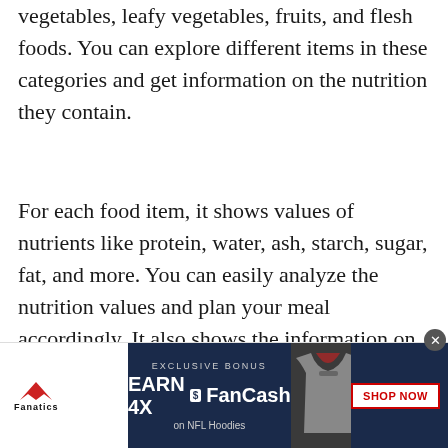vegetables, leafy vegetables, fruits, and flesh foods. You can explore different items in these categories and get information on the nutrition they contain.
For each food item, it shows values of nutrients like protein, water, ash, starch, sugar, fat, and more. You can easily analyze the nutrition values and plan your meal accordingly. It also shows the information on the background of fruits, vegetables, etc. Besides that, it shares the fun facts and dimensions of a food item. So, basically, you can know about a particular food
[Figure (other): Fanatics advertisement banner: EXCLUSIVE BONUS — EARN 4X FanCash on NFL Hoodies. SHOP NOW button. Shows a sports hoodie image.]